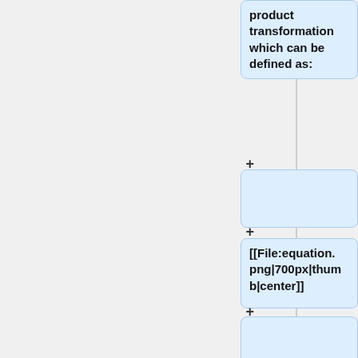product transformation which can be defined as:
+
[[File:equation.png|700px|thumb|center]]
+
And, this transformation adds nonlinearity to the GLM and captures the interactions between the binary features.
+